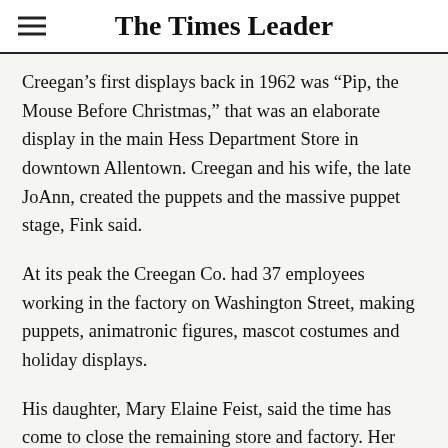The Times Leader
Creegan’s first displays back in 1962 was “Pip, the Mouse Before Christmas,” that was an elaborate display in the main Hess Department Store in downtown Allentown. Creegan and his wife, the late JoAnn, created the puppets and the massive puppet stage, Fink said.
At its peak the Creegan Co. had 37 employees working in the factory on Washington Street, making puppets, animatronic figures, mascot costumes and holiday displays.
His daughter, Mary Elaine Feist, said the time has come to close the remaining store and factory. Her mother died seven years ago and some of the major creative forces are no longer there. Frosty Bienco, a